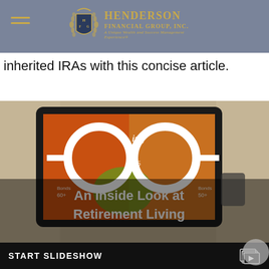Henderson Financial Group, Inc. — A Unique Wealth and Success Management Experience
inherited IRAs with this concise article.
[Figure (photo): Photo of a tablet displaying a retirement living slideshow graphic with glasses overlay and text 'An Inside Look at Retirement Living']
START SLIDESHOW